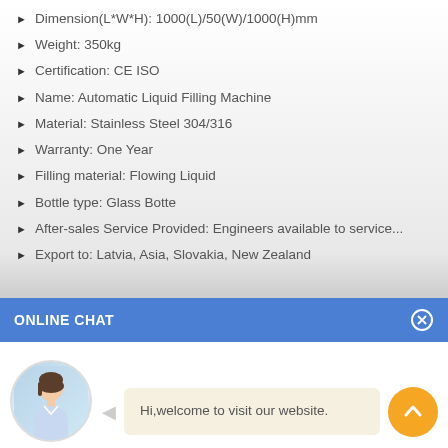Dimension(L*W*H): 1000(L)/50(W)/1000(H)mm
Weight: 350kg
Certification: CE ISO
Name: Automatic Liquid Filling Machine
Material: Stainless Steel 304/316
Warranty: One Year
Filling material: Flowing Liquid
Bottle type: Glass Botte
After-sales Service Provided: Engineers available to service...
Export to: Latvia, Asia, Slovakia, New Zealand
ONLINE CHAT
[Figure (illustration): Chat interface with avatar of a woman named Cilina and speech bubble saying 'Hi,welcome to visit our website.']